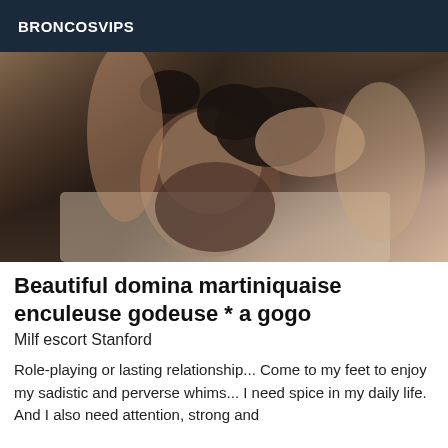BRONCOSVIPS
[Figure (photo): Close-up photo of two people, one wearing black lingerie, in an intimate pose on a light-colored surface]
Beautiful domina martiniquaise enculeuse godeuse * a gogo
Milf escort Stanford
Role-playing or lasting relationship... Come to my feet to enjoy my sadistic and perverse whims... I need spice in my daily life. And I also need attention, strong and